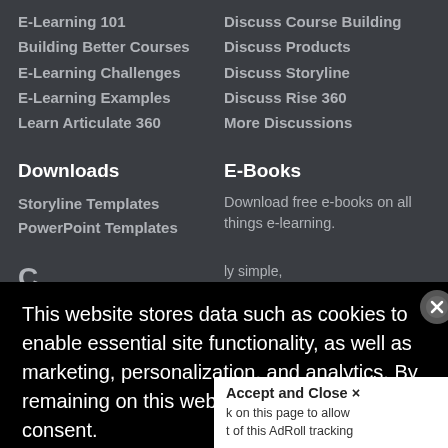E-Learning 101
Building Better Courses
E-Learning Challenges
E-Learning Examples
Learn Articulate 360
Discuss Course Building
Discuss Products
Discuss Storyline
Discuss Rise 360
More Discussions
Downloads
E-Books
Storyline Templates
PowerPoint Templates
Download free e-books on all things e-learning.
This website stores data such as cookies to enable essential site functionality, as well as marketing, personalization, and analytics. By remaining on this website you indicate your consent.
Privacy Notice
Accept and Close ×
k on this page to allow t of this AdRoll tracking